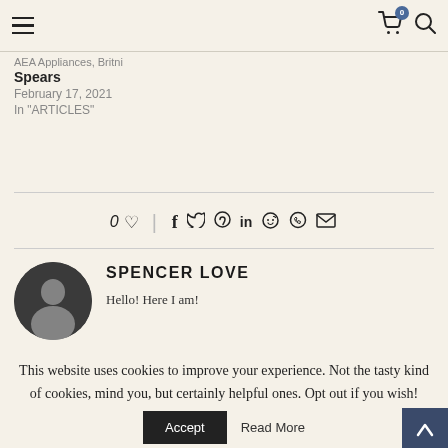Navigation bar with hamburger menu, cart (0), and search icon
AEA Appliances, Britni Spears
February 17, 2021
In "ARTICLES"
0 ♡ | f 𝕏 𝕡 in reddit WhatsApp ✉
SPENCER LOVE
Hello! Here I am!
This website uses cookies to improve your experience. Not the tasty kind of cookies, mind you, but certainly helpful ones. Opt out if you wish!
Accept   Read More